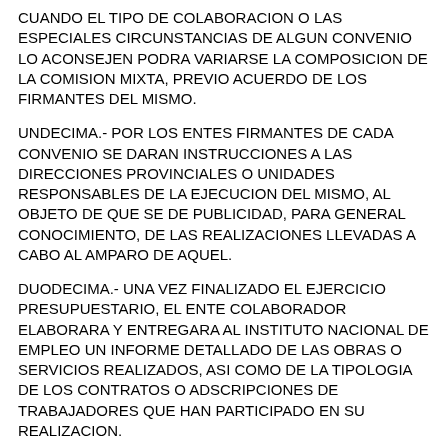CUANDO EL TIPO DE COLABORACION O LAS ESPECIALES CIRCUNSTANCIAS DE ALGUN CONVENIO LO ACONSEJEN PODRA VARIARSE LA COMPOSICION DE LA COMISION MIXTA, PREVIO ACUERDO DE LOS FIRMANTES DEL MISMO.
UNDECIMA.- POR LOS ENTES FIRMANTES DE CADA CONVENIO SE DARAN INSTRUCCIONES A LAS DIRECCIONES PROVINCIALES O UNIDADES RESPONSABLES DE LA EJECUCION DEL MISMO, AL OBJETO DE QUE SE DE PUBLICIDAD, PARA GENERAL CONOCIMIENTO, DE LAS REALIZACIONES LLEVADAS A CABO AL AMPARO DE AQUEL.
DUODECIMA.- UNA VEZ FINALIZADO EL EJERCICIO PRESUPUESTARIO, EL ENTE COLABORADOR ELABORARA Y ENTREGARA AL INSTITUTO NACIONAL DE EMPLEO UN INFORME DETALLADO DE LAS OBRAS O SERVICIOS REALIZADOS, ASI COMO DE LA TIPOLOGIA DE LOS CONTRATOS O ADSCRIPCIONES DE TRABAJADORES QUE HAN PARTICIPADO EN SU REALIZACION.
DECIMOTERCERA.- LOS CONVENIOS QUE CONTENGAN OBRAS O SERVICIOS A